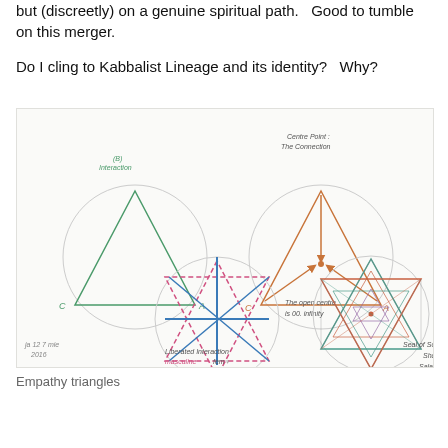but (discreetly) on a genuine spiritual path.   Good to tumble on this merger.
Do I cling to Kabbalist Lineage and its identity?   Why?
[Figure (illustration): Hand-drawn geometric diagrams showing empathy triangles: top-left shows a triangle inscribed in a circle labeled (B) Interaction with vertices C and A; top-right shows triangle with arrows converging to a centre point labeled 'Centre Point: The Connection' with arrows from C and A; bottom-middle shows two overlapping triangles (pink and blue) in a circle with dashed lines, labeled 'Liberated Interaction masculine feminine'; bottom text says 'The open centre is 00. infinity'; bottom-right shows a Star of Solomon (hexagram) in a circle with intricate inner lines labeled 'Seal of Solomon Shalom Salaam Peace'. Bottom-left handwritten note: ja 12 7 mie 2016.]
Empathy triangles